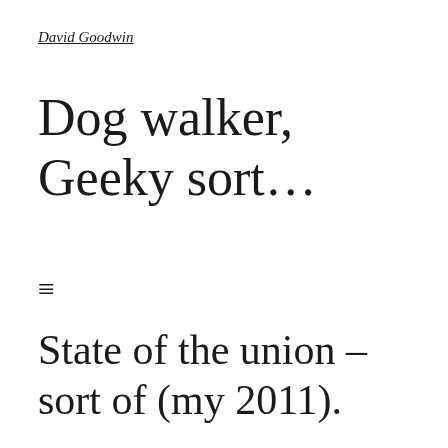David Goodwin
Dog walker, Geeky sort…
≡
State of the union – sort of (my 2011).